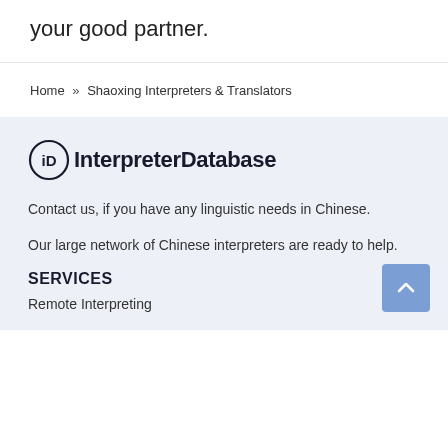your good partner.
Home » Shaoxing Interpreters & Translators
[Figure (logo): InterpreterDatabase logo with circular iD icon and bold text]
Contact us, if you have any linguistic needs in Chinese.
Our large network of Chinese interpreters are ready to help.
SERVICES
Remote Interpreting